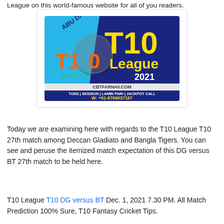League on this world-famous website for all of you readers.
[Figure (logo): Abu Dhabi T10 League 2021 promotional banner. Shows 'ABU DHABI T10' logo on left with cricket player graphic, and 'T10 League 2021' text on dark blue background on right. Bottom strip shows 'CBTFARNAV.COM', 'TOSS | SESSION | LAMBI PARI | JACKPOT CALL', and 'W: +91-8769037167'. Contact number @8769037167 shown in green.]
Today we are examining here with regards to the T10 League T10 27th match among Deccan Gladiato and Bangla Tigers. You can see and peruse the itemized match expectation of this DG versus BT 27th match to be held here.
T10 League T10 DG versus BT Dec. 1, 2021 7.30 PM. All Match Prediction 100% Sure, T10 Fantasy Cricket Tips. 100% today match expectation ball by ball at Sheikh Zayed...